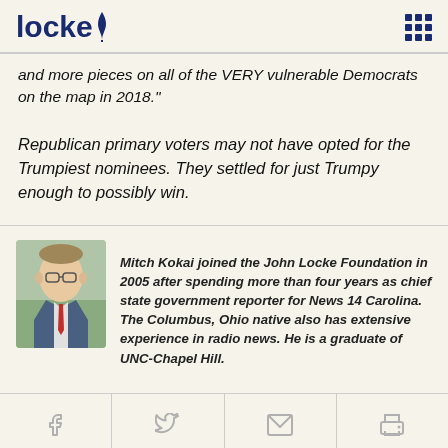locke (John Locke Foundation logo with grid menu icon)
and more pieces on all of the VERY vulnerable Democrats on the map in 2018."
Republican primary voters may not have opted for the Trumpiest nominees. They settled for just Trumpy enough to possibly win.
[Figure (photo): Headshot photo of Mitch Kokai, a man wearing glasses and a suit with a red tie]
Mitch Kokai joined the John Locke Foundation in 2005 after spending more than four years as chief state government reporter for News 14 Carolina. The Columbus, Ohio native also has extensive experience in radio news. He is a graduate of UNC-Chapel Hill.
Social share icons: Facebook, Twitter, Email, Print